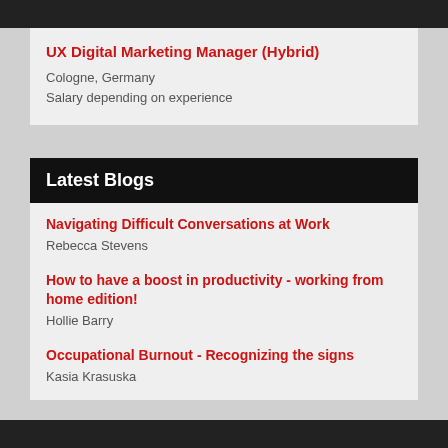UX Digital Marketing Manager (Hybrid)
Cologne, Germany
Salary depending on experience
Latest Blogs
Navigating Difficult Conversations at Work
Rebecca Stevens
How to have a boost in productivity - working from home edition!
Hollie Barry
Occupational Burnout - Recognizing the signs
Kasia Krasuska